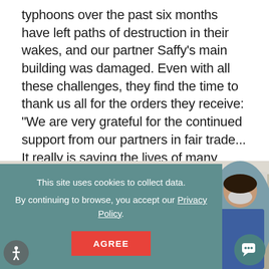typhoons over the past six months have left paths of destruction in their wakes, and our partner Saffy's main building was damaged. Even with all these challenges, they find the time to thank us all for the orders they receive: "We are very grateful for the continued support from our partners in fair trade... It really is saving the lives of many artisans."
[Figure (photo): Photo of a workshop or office interior showing wall panels and a person on the right side wearing a mask and blue clothing, partially visible]
This site uses cookies to collect data. By continuing to browse, you accept our Privacy Policy.
AGREE